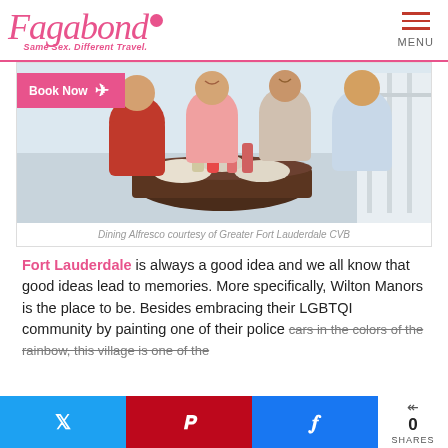[Figure (logo): Fagabond logo in pink cursive script with tagline 'Same Sex. Different Travel.' and hamburger menu icon labeled MENU]
[Figure (photo): Four men dining alfresco at a round table with food and drinks, laughing and enjoying themselves outdoors]
Dining Alfresco courtesy of Greater Fort Lauderdale CVB
Fort Lauderdale is always a good idea and we all know that good ideas lead to memories. More specifically, Wilton Manors is the place to be. Besides embracing their LGBTQI community by painting one of their police cars in the colors of the rainbow, this village is one of the
[Figure (infographic): Social share bar with Twitter (blue), Pinterest (red), Facebook (blue) buttons and share count showing 0 SHARES]